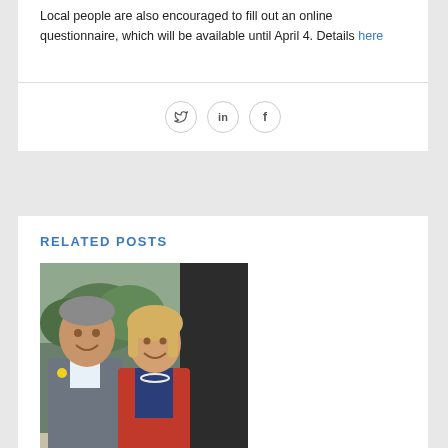Local people are also encouraged to fill out an online questionnaire, which will be available until April 4. Details here
[Figure (other): Three social media icon circles: Twitter (bird icon), LinkedIn (in icon), Facebook (f icon)]
RELATED POSTS
[Figure (photo): Photo of two people smiling: a man in a grey checked suit jacket with a yellow badge on the left, and a woman in a red jacket with pearl necklace on the right, standing in front of a building exterior with trees in background]